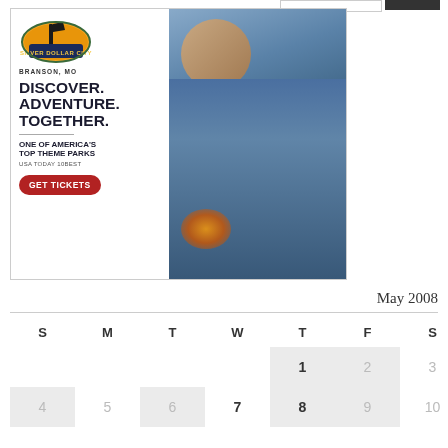[Figure (illustration): Silver Dollar City advertisement banner. Shows logo with 'BRANSON, MO', headline 'DISCOVER. ADVENTURE. TOGETHER.', subtext 'ONE OF AMERICA'S TOP THEME PARKS', 'USA TODAY 10BEST', and a red 'GET TICKETS' button. Right side shows a photo of a smiling man in blue shirt holding a glowing object.]
May 2008
| S | M | T | W | T | F | S |
| --- | --- | --- | --- | --- | --- | --- |
|  |  |  |  | 1 | 2 | 3 |
| 4 | 5 | 6 | 7 | 8 | 9 | 10 |